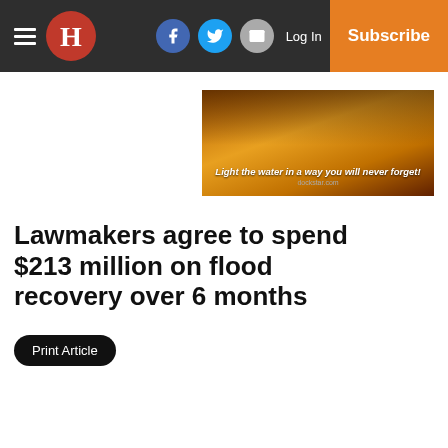H | Log In | Subscribe (navbar with hamburger, logo, social icons)
[Figure (photo): Advertisement banner with warm amber/orange tones showing water-like reflections with text: Light the water in a way you will never forget!]
Lawmakers agree to spend $213 million on flood recovery over 6 months
Print Article